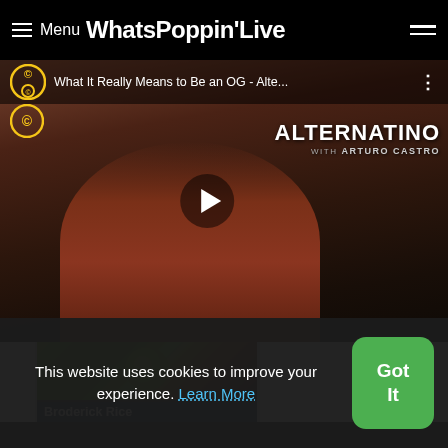≡ Menu WhatsPoppinLive
[Figure (screenshot): Video thumbnail for 'What It Really Means to Be an OG - Alte...' from Comedy Central's Alternatino with Arturo Castro. Shows a man in a red plaid shirt with a play button overlay. Alternatino branding on the right.]
[Figure (photo): Thumbnail card showing a person with green face paint (like The Mask character) wearing a red jacket, smiling. Label reads 'Broderick Rice'.]
This website uses cookies to improve your experience. Learn More
Got It